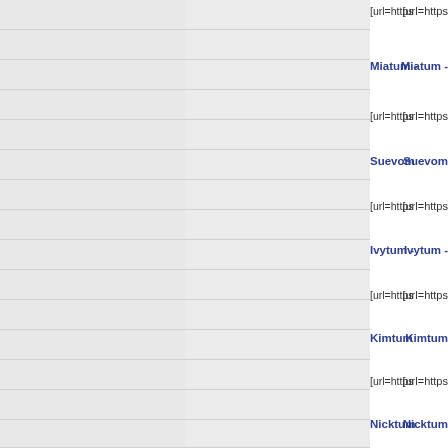[url=https
Miatum -
[url=https
Suevom
[url=https
Ivytum -
[url=https
Kimtum
[url=https
Nicktum
[url=http:
Joetum -
[url=https
Marytum
[url=https